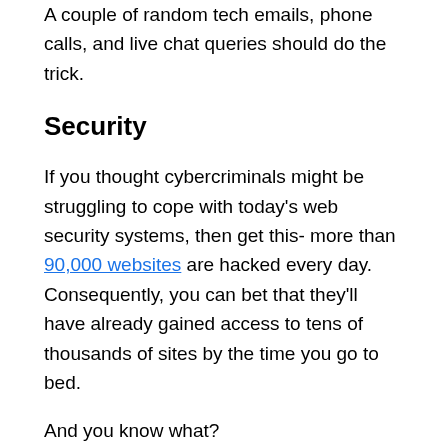A couple of random tech emails, phone calls, and live chat queries should do the trick.
Security
If you thought cybercriminals might be struggling to cope with today's web security systems, then get this- more than 90,000 websites are hacked every day. Consequently, you can bet that they'll have already gained access to tens of thousands of sites by the time you go to bed.
And you know what?
The bulk of them, certainly, won't be going for unrewarding sites like personal blogs. They commonly target big fish, including online stores